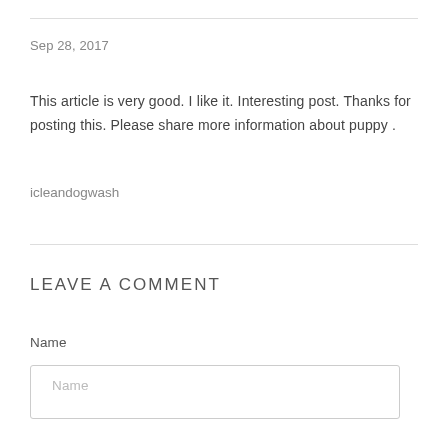Sep 28, 2017
This article is very good. I like it. Interesting post. Thanks for posting this. Please share more information about puppy .
icleandogwash
LEAVE A COMMENT
Name